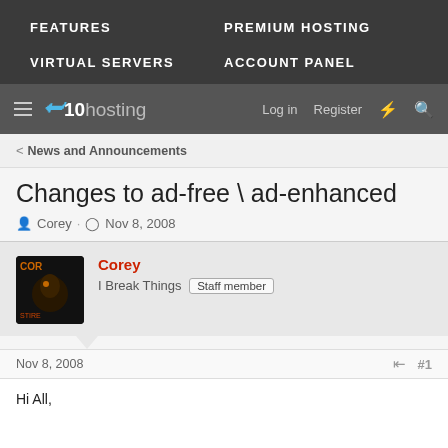FEATURES   PREMIUM HOSTING   VIRTUAL SERVERS   ACCOUNT PANEL
[Figure (logo): x10hosting logo with hamburger menu, Log in, Register, lightning bolt, and search icons]
< News and Announcements
Changes to ad-free \ ad-enhanced
Corey · Nov 8, 2008
Corey
I Break Things   Staff member
Nov 8, 2008   #1
Hi All,